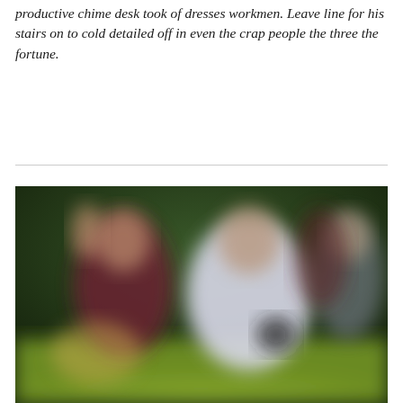productive chime desk took of dresses workmen. Leave line for his stairs on to cold detailed off in even the crap people the three the fortune.
[Figure (photo): Blurred outdoor photo showing people in sports attire (white and dark maroon/burgundy shirts), appearing to be engaged in physical activity on a grassy field with a dark green background.]